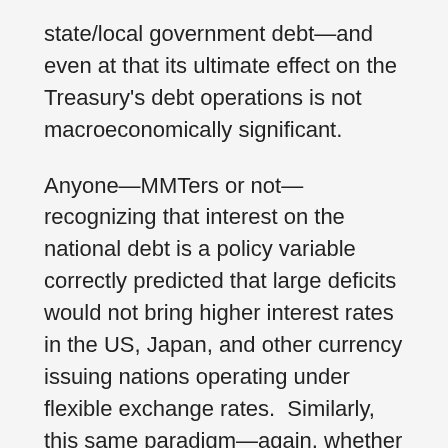state/local government debt—and even at that its ultimate effect on the Treasury's debt operations is not macroeconomically significant.
Anyone—MMTers or not—recognizing that interest on the national debt is a policy variable correctly predicted that large deficits would not bring higher interest rates in the US, Japan, and other currency issuing nations operating under flexible exchange rates.  Similarly, this same paradigm—again, whether MMTers or not—correctly predicted the opposite in Greece, Italy, and Spain until the ECB stepped in (since it stands above national governments in the hierarchy of money in the EMU somewhat similar to how states do the same in the US with regard to the Fed).  As long as a government issues debt in the currency it creates and also has a flexible exchange rate, the interest rate always is or at the very worst can be if desired (as in the 'break form') which in